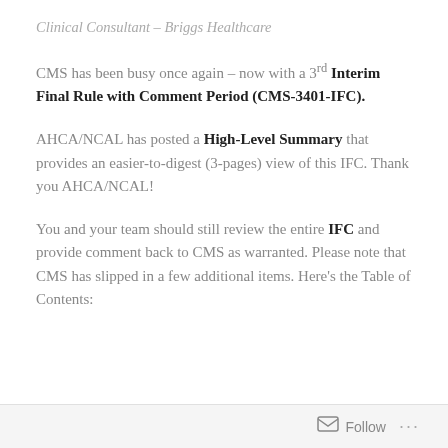Clinical Consultant – Briggs Healthcare
CMS has been busy once again – now with a 3rd Interim Final Rule with Comment Period (CMS-3401-IFC).
AHCA/NCAL has posted a High-Level Summary that provides an easier-to-digest (3-pages) view of this IFC.  Thank you AHCA/NCAL!
You and your team should still review the entire IFC and provide comment back to CMS as warranted.  Please note that CMS has slipped in a few additional items.  Here's the Table of Contents:
Follow